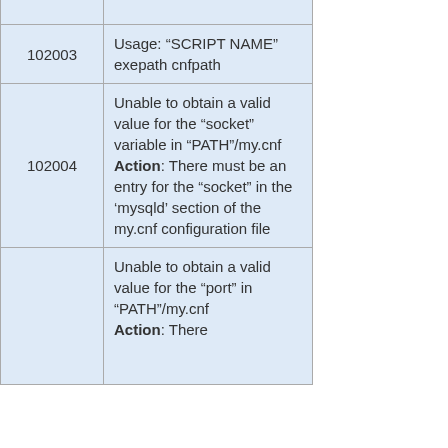| Error Code | Description |
| --- | --- |
| 102003 | Usage: “SCRIPT NAME” exepath cnfpath |
| 102004 | Unable to obtain a valid value for the “socket” variable in “PATH”/my.cnf
Action: There must be an entry for the “socket” in the ‘mysqld’ section of the my.cnf configuration file |
|  | Unable to obtain a valid value for the “port” in “PATH”/my.cnf
Action: There |